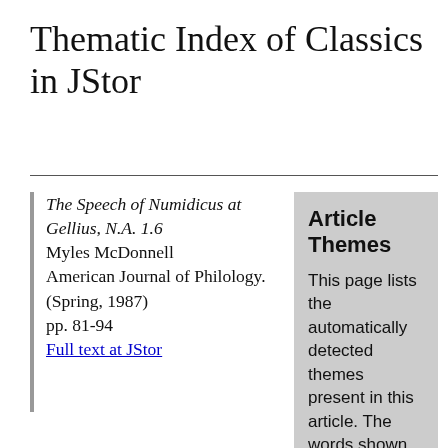Thematic Index of Classics in JStor
The Speech of Numidicus at Gellius, N.A. 1.6
Myles McDonnell
American Journal of Philology. (Spring, 1987)
pp. 81-94
Full text at JStor
Article Themes
This page lists the automatically detected themes present in this article. The words shown for each theme reflect the overall content of the theme.